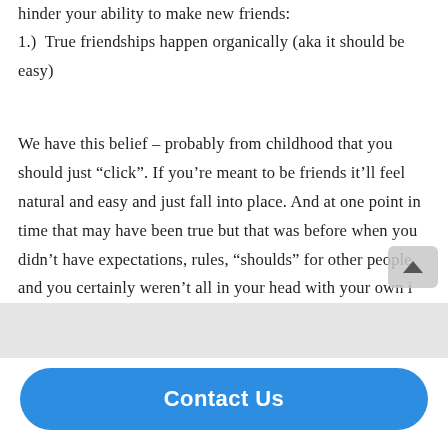hinder your ability to make new friends:
1.)  True friendships happen organically (aka it should be easy)
We have this belief – probably from childhood that you should just “click”. If you’re meant to be friends it’ll feel natural and easy and just fall into place. And at one point in time that may have been true but that was before when you didn’t have expectations, rules, “shoulds” for other people, and you certainly weren’t all in your head with your own i…
Contact Us